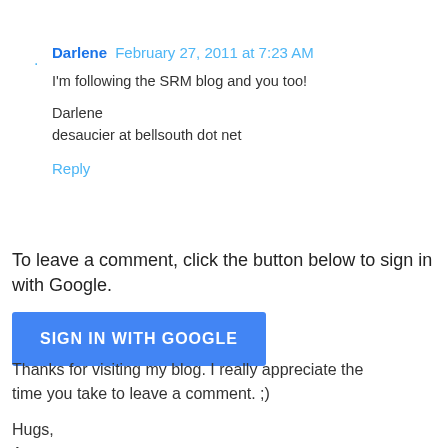Darlene  February 27, 2011 at 7:23 AM
I'm following the SRM blog and you too!

Darlene
desaucier at bellsouth dot net
Reply
To leave a comment, click the button below to sign in with Google.
[Figure (other): Blue 'SIGN IN WITH GOOGLE' button]
Thanks for visiting my blog. I really appreciate the time you take to leave a comment. ;)

Hugs,
Amy ♥